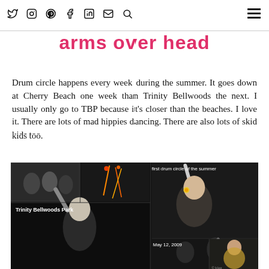she was happy dancing with her arms over head — nav icons: twitter, instagram, pinterest, facebook, linkedin, email, search, hamburger menu
arms over head
Drum circle happens every week during the summer. It goes down at Cherry Beach one week than Trinity Bellwoods the next. I usually only go to TBP because it's closer than the beaches. I love it. There are lots of mad hippies dancing. There are also lots of skid kids too.
[Figure (photo): Collage of nighttime photos from drum circle events at Trinity Bellwoods Park. Photos show people dancing with arms raised, fire/light trails, and candid crowd shots. Labels include 'Trinity Bellwoods Park', 'first drum circle of the summer', 'May 12, 2009'.]